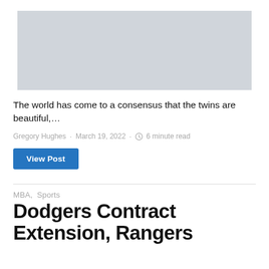[Figure (photo): Light gray placeholder image rectangle at the top of the page]
The world has come to a consensus that the twins are beautiful,…
Gregory Hughes · March 19, 2022 · 6 minute read
View Post
MBA,  Sports
Dodgers Contract Extension, Rangers